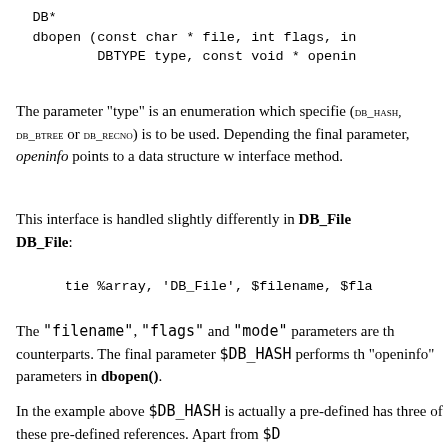DB*
dbopen (const char * file, int flags, in
        DBTYPE type, const void * openin
The parameter "type" is an enumeration which specifie (DB_HASH, DB_BTREE or DB_RECNO) is to be used. Depending the final parameter, openinfo points to a data structure w interface method.
This interface is handled slightly differently in DB_File DB_File:
tie %array, 'DB_File', $filename, $fla
The "filename", "flags" and "mode" parameters are th counterparts. The final parameter $DB_HASH performs th "openinfo" parameters in dbopen().
In the example above $DB_HASH is actually a pre-defined has three of these pre-defined references. Apart from $D